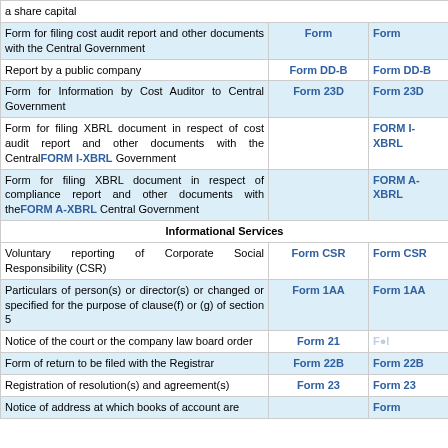| Description | Form | Form |
| --- | --- | --- |
| a share capital |  |  |
| Form for filing cost audit report and other documents with the Central Government | Form | Form |
| Report by a public company | Form DD-B | Form DD-B |
| Form for Information by Cost Auditor to Central Government | Form 23D | Form 23D |
| Form for filing XBRL document in respect of cost audit report and other documents with the Central Government | FORM I-XBRL | FORM I-XBRL |
| Form for filing XBRL document in respect of compliance report and other documents with the Central Government | FORM A-XBRL | FORM A-XBRL |
| Informational Services |  |  |
| Voluntary reporting of Corporate Social Responsibility (CSR) | Form CSR | Form CSR |
| Particulars of person(s) or director(s) or changed or specified for the purpose of clause(f) or (g) of section 5 | Form 1AA | Form 1AA |
| Notice of the court or the company law board order | Form 21 | Form 21 |
| Form of return to be filed with the Registrar | Form 22B | Form 22B |
| Registration of resolution(s) and agreement(s) | Form 23 | Form 23 |
| Notice of address at which books of account are |  | Form |